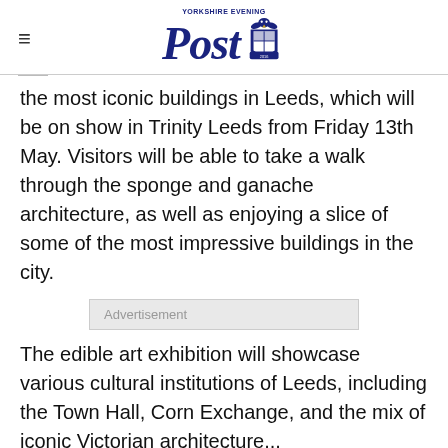[Figure (logo): Yorkshire Evening Post newspaper logo with stylized italic 'Post' text in dark navy blue and a decorative crest graphic]
the most iconic buildings in Leeds, which will be on show in Trinity Leeds from Friday 13th May. Visitors will be able to take a walk through the sponge and ganache architecture, as well as enjoying a slice of some of the most impressive buildings in the city.
Advertisement
The edible art exhibition will showcase various cultural institutions of Leeds, including the Town Hall, Corn Exchange, and the mix of iconic Victorian architecture...